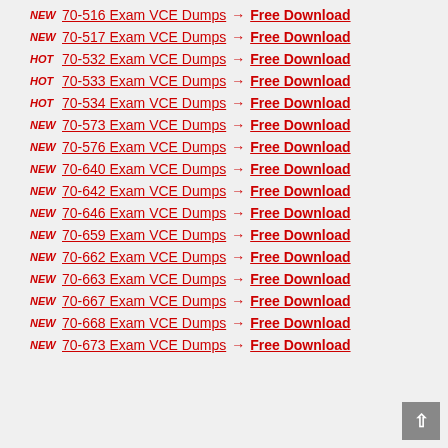NEW 70-516 Exam VCE Dumps → Free Download
NEW 70-517 Exam VCE Dumps → Free Download
HOT 70-532 Exam VCE Dumps → Free Download
HOT 70-533 Exam VCE Dumps → Free Download
HOT 70-534 Exam VCE Dumps → Free Download
NEW 70-573 Exam VCE Dumps → Free Download
NEW 70-576 Exam VCE Dumps → Free Download
NEW 70-640 Exam VCE Dumps → Free Download
NEW 70-642 Exam VCE Dumps → Free Download
NEW 70-646 Exam VCE Dumps → Free Download
NEW 70-659 Exam VCE Dumps → Free Download
NEW 70-662 Exam VCE Dumps → Free Download
NEW 70-663 Exam VCE Dumps → Free Download
NEW 70-667 Exam VCE Dumps → Free Download
NEW 70-668 Exam VCE Dumps → Free Download
NEW 70-673 Exam VCE Dumps → Free Download